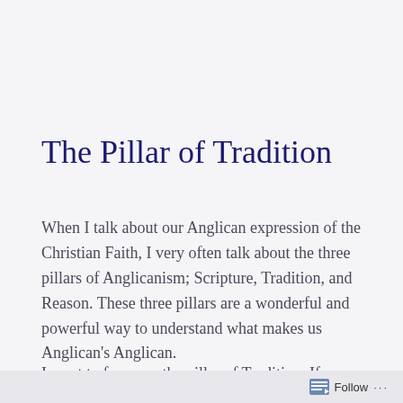The Pillar of Tradition
When I talk about our Anglican expression of the Christian Faith, I very often talk about the three pillars of Anglicanism; Scripture, Tradition, and Reason. These three pillars are a wonderful and powerful way to understand what makes us Anglican's Anglican.
I want to focus on the pillar of Tradition. If you look around the St. George's Church, and most Anglican…
Follow …